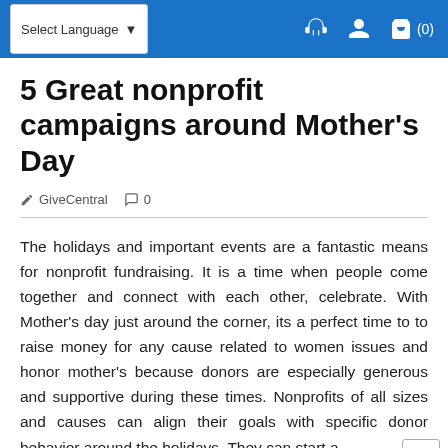Select Language (0)
5 Great nonprofit campaigns around Mother's Day
GiveCentral  0
The holidays and important events are a fantastic means for nonprofit fundraising. It is a time when people come together and connect with each other, celebrate. With Mother's day just around the corner, its a perfect time to to raise money for any cause related to women issues and honor mother's because donors are especially generous and supportive during these times. Nonprofits of all sizes and causes can align their goals with specific donor behavior around the holidays. They can start a